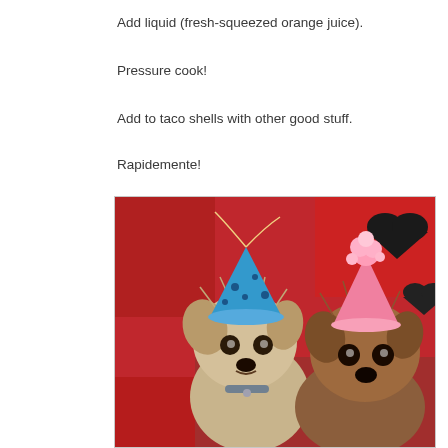Add liquid (fresh-squeezed orange juice).
Pressure cook!
Add to taco shells with other good stuff.
Rapidemente!
[Figure (photo): Two small Yorkshire Terrier dogs wearing party hats — one with a blue polka-dot hat and one with a pink ruffled hat — sitting together against a red fabric background with black heart patterns.]